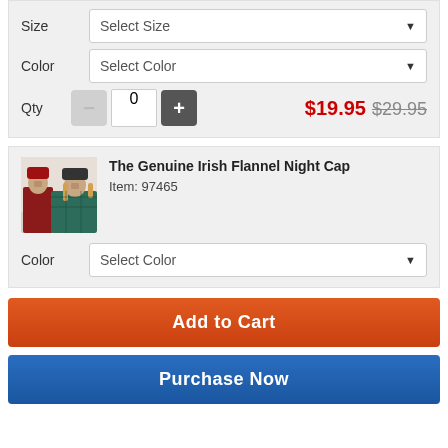Size / Select Size
Color / Select Color
Qty 0 $19.95 $29.95
[Figure (photo): Two people wearing flannel nightcaps and cozy clothing, man in red and woman in green plaid]
The Genuine Irish Flannel Night Cap
Item: 97465
Color / Select Color
Add to Cart
Purchase Now